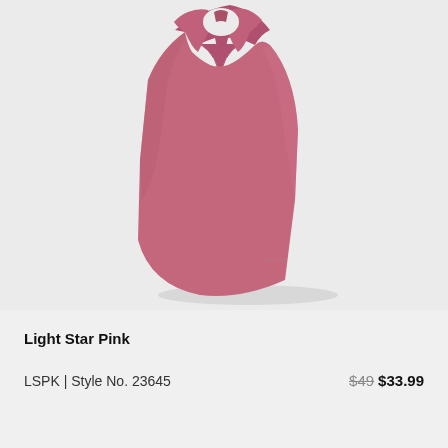[Figure (photo): A light star pink women's racerback tank top displayed on a model torso, photographed against a light gray background. The tank top is a muted rose/mauve pink color with a scoop neck and racerback design.]
Light Star Pink
LSPK | Style No. 23645
$49 $33.99